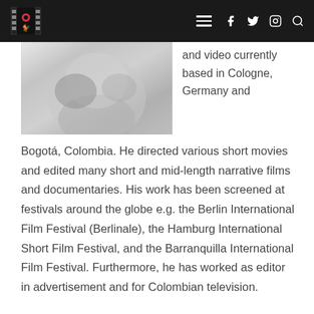Navigation bar with logo, hamburger menu, and social icons (Facebook, Twitter, Instagram, Search)
[Figure (photo): Close-up black and white photograph of a person's face/chin area]
and video currently based in Cologne, Germany and Bogotá, Colombia. He directed various short movies and edited many short and mid-length narrative films and documentaries. His work has been screened at festivals around the globe e.g. the Berlin International Film Festival (Berlinale), the Hamburg International Short Film Festival, and the Barranquilla International Film Festival. Furthermore, he has worked as editor in advertisement and for Colombian television.